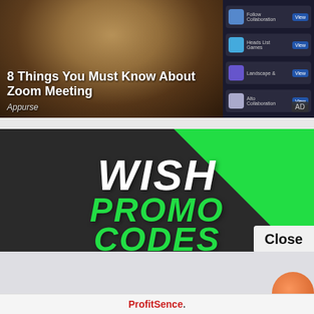[Figure (screenshot): Advertisement banner: person at desk with Zoom app interface on right. Title: '8 Things You Must Know About Zoom Meeting'. Source: Appurse. AD badge bottom-right.]
[Figure (screenshot): Advertisement banner for Wish Promo Codes on dark background with green triangle top-right. Text: WISH PROMO CODES in large letters. Close button visible. Lower section shows '[Pics] Check Today's Top Deals For Wish Here For Free' with source 'Coupon'. ProfitSence branding at bottom.]